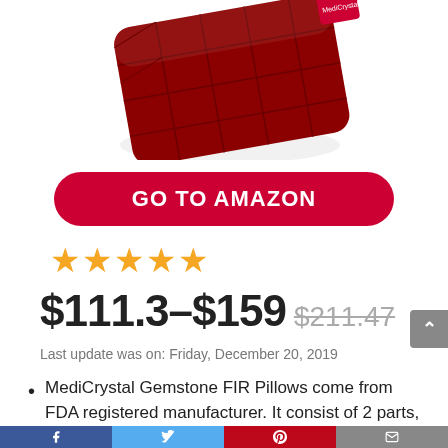[Figure (photo): Red quilted pillow product photo, partially cropped at top]
GO TO AMAZON
★★★★★
$111.3–$159 $211.47
Last update was on: Friday, December 20, 2019
MediCrystal Gemstone FIR Pillows come from FDA registered manufacturer. It consist of 2 parts,